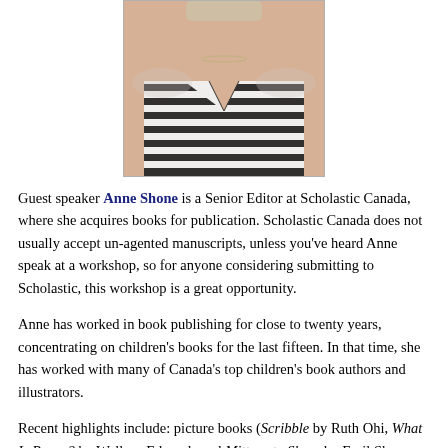[Figure (photo): Photo of Anne Shone, a woman wearing a black and white striped shirt, cropped to show neck and torso area]
Guest speaker Anne Shone is a Senior Editor at Scholastic Canada, where she acquires books for publication. Scholastic Canada does not usually accept un-agented manuscripts, unless you've heard Anne speak at a workshop, so for anyone considering submitting to Scholastic, this workshop is a great opportunity.
Anne has worked in book publishing for close to twenty years, concentrating on children's books for the last fifteen. In that time, she has worked with many of Canada's top children's book authors and illustrators.
Recent highlights include: picture books (Scribble by Ruth Ohi, What Is Peace? by Wallace Edwards and Mittens to Share by Emil Shor, illustrated by Irene Luxbacher); novels